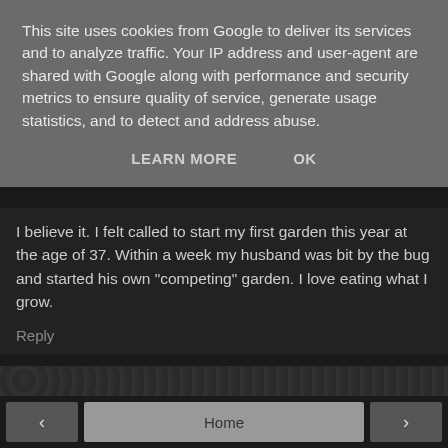This site uses cookies from Google to deliver its services and to analyze traffic. Your IP address and user-agent are shared with Google along with performance and security metrics to ensure quality of service, generate usage statistics, and to detect and address abuse.
LEARN MORE   OK
I believe it. I felt called to start my first garden this year at the age of 37. Within a week my husband was bit by the bug and started his own "competing" garden. I love eating what I grow.
Reply
< Home >